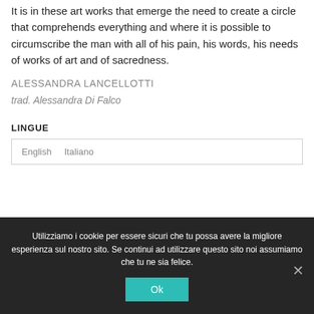It is in these art works that emerge the need to create a circle that comprehends everything and where it is possible to circumscribe the man with all of his pain, his words, his needs of works of art and of sacredness.
ALESSANDRA LANCELLOTTI
trad. Alessandra Di Falco
LINGUE
English    Italiano
Utilizziamo i cookie per essere sicuri che tu possa avere la migliore esperienza sul nostro sito. Se continui ad utilizzare questo sito noi assumiamo che tu ne sia felice.
Ok